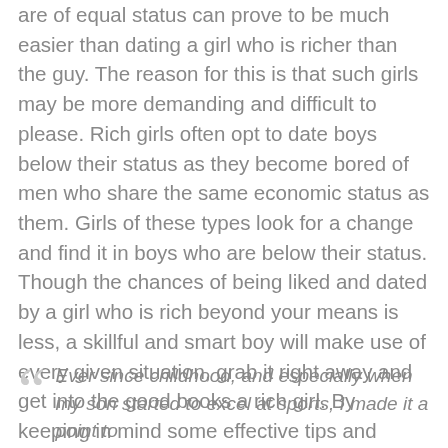are of equal status can prove to be much easier than dating a girl who is richer than the guy. The reason for this is that such girls may be more demanding and difficult to please. Rich girls often opt to date boys below their status as they become bored of men who share the same economic status as them. Girls of these types look for a change and find it in boys who are below their status. Though the chances of being liked and dated by a girl who is rich beyond your means is less, a skillful and smart boy will make use of every given situation, grab it right away and get into the good books a rich girl. By keeping in mind some effective tips and using his own charm, any boy can date a rich girl with ease. What may seem to be expensive and unique to you may be old, cheap and ancient for her.
Ever since childhood, and especially when my son started to excel at sports, I made it a point to